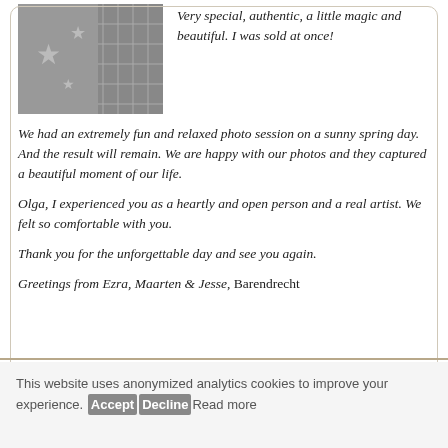[Figure (photo): Black and white photo of two people, one wearing a star-patterned top and another in plaid, outdoors]
Very special, authentic, a little magic and beautiful. I was sold at once!
We had an extremely fun and relaxed photo session on a sunny spring day. And the result will remain. We are happy with our photos and they captured a beautiful moment of our life.
Olga, I experienced you as a heartly and open person and a real artist. We felt so comfortable with you.
Thank you for the unforgettable day and see you again.
Greetings from Ezra, Maarten & Jesse, Barendrecht
This website uses anonymized analytics cookies to improve your experience. Accept Decline Read more